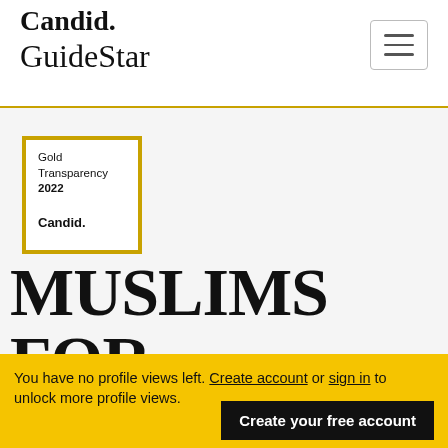Candid. GuideStar
[Figure (logo): Gold Transparency 2022 Candid. badge with gold border]
MUSLIMS FOR PROGRESSIVE VALUES
You have no profile views left. Create account or sign in to unlock more profile views.